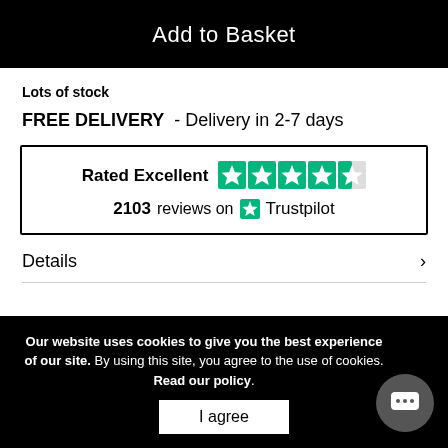Add to Basket
Lots of stock
FREE DELIVERY  - Delivery in 2-7 days
[Figure (infographic): Trustpilot rating box: Rated Excellent with 4.5 green stars, 2103 reviews on Trustpilot]
Details
Our website uses cookies to give you the best experience of our site. By using this site, you agree to the use of cookies. Read our policy.
I agree